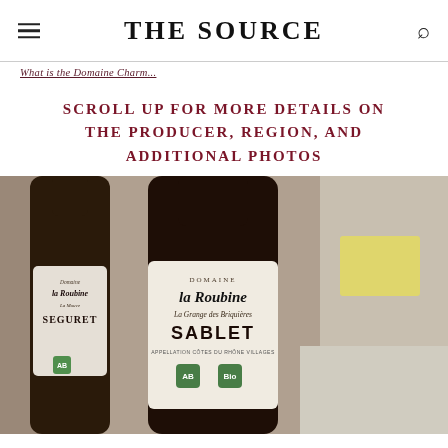THE SOURCE
What is the Domaine Charm...
SCROLL UP FOR MORE DETAILS ON THE PRODUCER, REGION, AND ADDITIONAL PHOTOS
[Figure (photo): Two dark wine bottles with labels from Domaine la Roubine. The center bottle shows the label clearly: DOMAINE la Roubine, La Grange des Briquières, SABLET, with organic certification logos. The left bottle partially shows: la Roubine, SEGURET, with an organic logo. A blurred yellow notepad and cloth are visible in the background.]